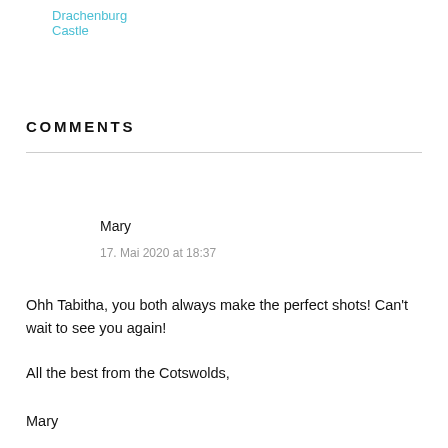Drachenburg Castle
COMMENTS
Mary
17. Mai 2020 at 18:37
Ohh Tabitha, you both always make the perfect shots! Can't wait to see you again!
All the best from the Cotswolds,
Mary